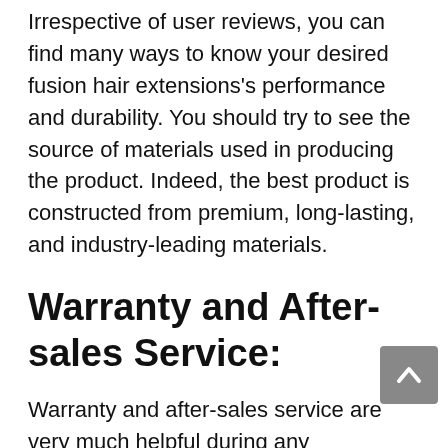Irrespective of user reviews, you can find many ways to know your desired fusion hair extensions's performance and durability. You should try to see the source of materials used in producing the product. Indeed, the best product is constructed from premium, long-lasting, and industry-leading materials.
Warranty and After-sales Service:
Warranty and after-sales service are very much helpful during any emergencies. We suggest you read the terms and conditions of serving the manufacturer or the seller after and before the purchase.
It is not easy to say your product will last